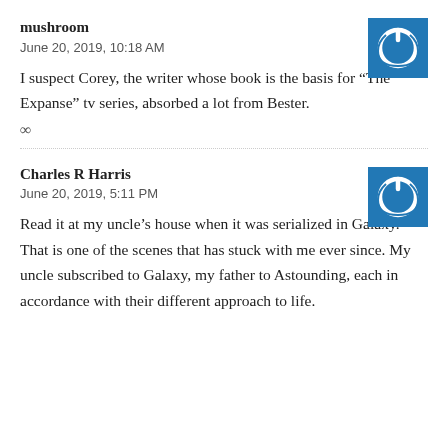mushroom
June 20, 2019, 10:18 AM
[Figure (logo): Blue square avatar icon with a white power/circle symbol]
I suspect Corey, the writer whose book is the basis for “The Expanse” tv series, absorbed a lot from Bester.
∞
Charles R Harris
June 20, 2019, 5:11 PM
[Figure (logo): Blue square avatar icon with a white power/circle symbol]
Read it at my uncle’s house when it was serialized in Galaxy. That is one of the scenes that has stuck with me ever since. My uncle subscribed to Galaxy, my father to Astounding, each in accordance with their different approach to life.